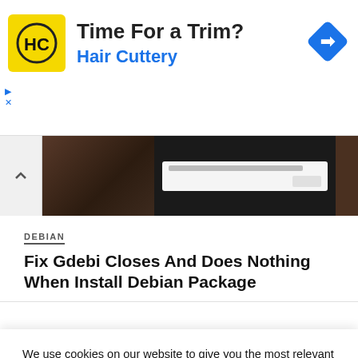[Figure (screenshot): Hair Cuttery advertisement banner with yellow HC logo, text 'Time For a Trim?' and 'Hair Cuttery' in blue, blue diamond navigation icon on right, with ad control icons on left]
[Figure (screenshot): Partial screenshot of a webpage showing a dark forest image and a dialog box with text]
DEBIAN
Fix Gdebi Closes And Does Nothing When Install Debian Package
We use cookies on our website to give you the most relevant experience by remembering your preferences and repeat visits. By clicking “Accept”, you consent to the use of ALL the cookies.
Do not sell my personal information.